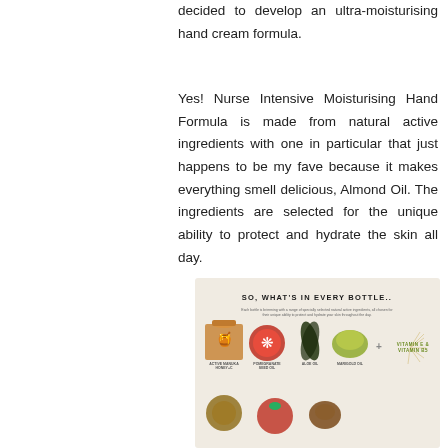decided to develop an ultra-moisturising hand cream formula.
Yes! Nurse Intensive Moisturising Hand Formula is made from natural active ingredients with one in particular that just happens to be my fave because it makes everything smell delicious, Almond Oil. The ingredients are selected for the unique ability to protect and hydrate the skin all day.
[Figure (infographic): Infographic titled 'SO, WHAT'S IN EVERY BOTTLE..' showing natural active ingredients in hand cream bottles. Subtitle reads 'Each bottle is brimming with a range of specially selected natural active ingredients, all chosen for their unique ability to protect and hydrate your skin throughout the day.' Icons showing: Active Manuka Honey+, Pomegranate Seed Oil, Aloe Oil, Marigold Oil, plus Vitamin E & Vitamin B5, with additional ingredients below.]